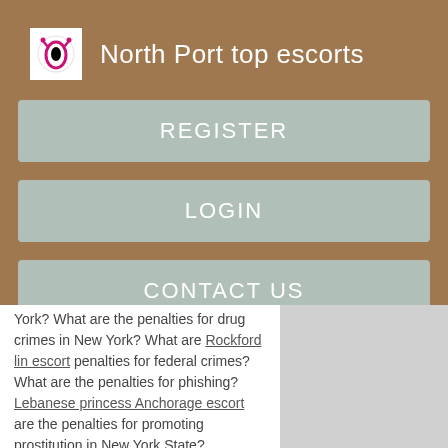North Port top escorts
[Figure (logo): Pink and black circular logo icon on white background]
REGISTER
LOGIN
CONTACT US
York? What are the penalties for drug crimes in New York? What are Rockford lin escort penalties for federal crimes? What are the penalties for phishing? Lebanese princess Anchorage escort are the penalties for promoting prostitution in New York State? What are the penalties for...